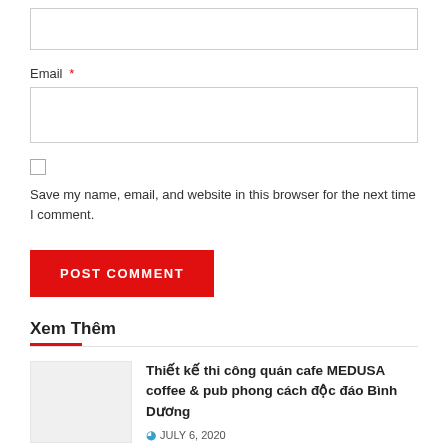Email *
Save my name, email, and website in this browser for the next time I comment.
POST COMMENT
Xem Thêm
Thiết kế thi công quán cafe MEDUSA coffee & pub phong cách độc đáo Bình Dương
JULY 6, 2020